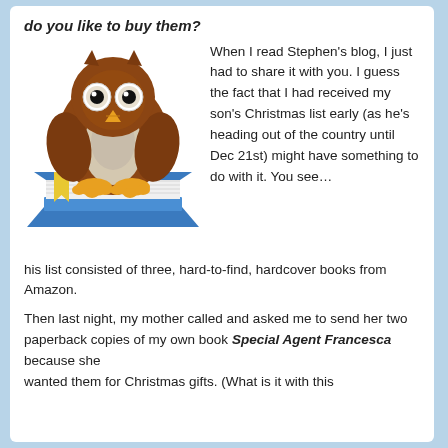do you like to buy them?
[Figure (illustration): Cartoon owl perched on top of a blue book with a yellow bookmark.]
When I read Stephen’s blog, I just had to share it with you. I guess the fact that I had received my son’s Christmas list early (as he’s heading out of the country until Dec 21st) might have something to do with it. You see…
his list consisted of three, hard-to-find, hardcover books from Amazon.
Then last night, my mother called and asked me to send her two paperback copies of my own book Special Agent Francesca because she wanted them for Christmas gifts. (What is it with this
wanted them for Christmas gifts. (What is it with this